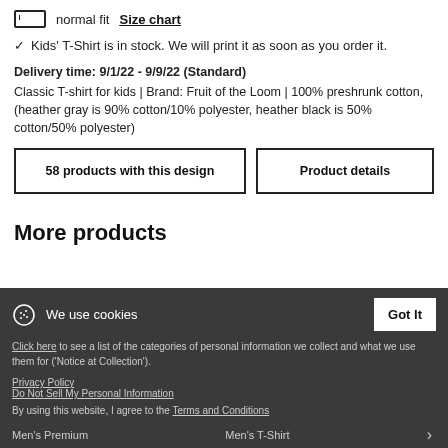normal fit  Size chart
✓ Kids' T-Shirt is in stock. We will print it as soon as you order it.
Delivery time: 9/1/22 - 9/9/22 (Standard)
Classic T-shirt for kids | Brand: Fruit of the Loom | 100% preshrunk cotton, (heather gray is 90% cotton/10% polyester, heather black is 50% cotton/50% polyester)
58 products with this design
Product details
More products
We use cookies
Got It
Click here to see a list of the categories of personal information we collect and what we use them for ('Notice at Collection').
Privacy Policy
Do Not Sell My Personal Information
By using this website, I agree to the Terms and Conditions
Men's Premium
Men's T-Shirt